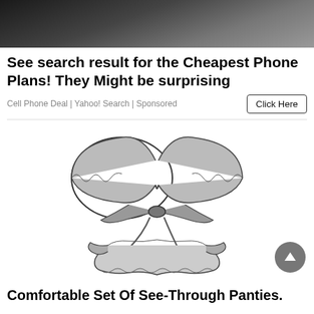[Figure (photo): Cropped top portion of a person, dark background, close-up]
See search result for the Cheapest Phone Plans! They Might be surprising
Cell Phone Deal | Yahoo! Search | Sponsored
[Figure (illustration): Black and white sketch illustration of a lingerie set including a bra top with bow and matching panties with bows]
Comfortable Set Of See-Through Panties.